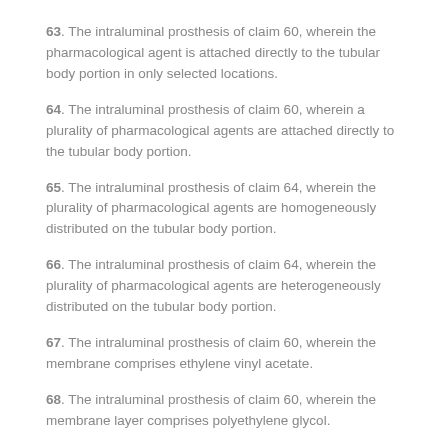63. The intraluminal prosthesis of claim 60, wherein the pharmacological agent is attached directly to the tubular body portion in only selected locations.
64. The intraluminal prosthesis of claim 60, wherein a plurality of pharmacological agents are attached directly to the tubular body portion.
65. The intraluminal prosthesis of claim 64, wherein the plurality of pharmacological agents are homogeneously distributed on the tubular body portion.
66. The intraluminal prosthesis of claim 64, wherein the plurality of pharmacological agents are heterogeneously distributed on the tubular body portion.
67. The intraluminal prosthesis of claim 60, wherein the membrane comprises ethylene vinyl acetate.
68. The intraluminal prosthesis of claim 60, wherein the membrane layer comprises polyethylene glycol.
69. The intraluminal prosthesis of claim 60, wherein the